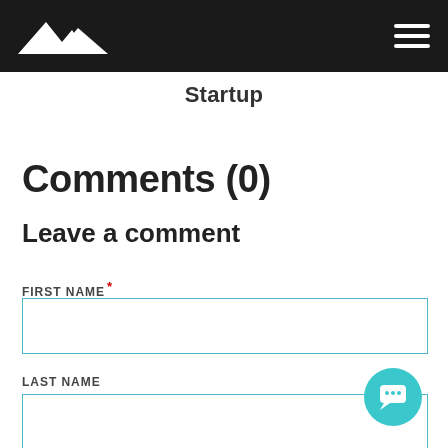Startup
Comments (0)
Leave a comment
FIRST NAME *
LAST NAME